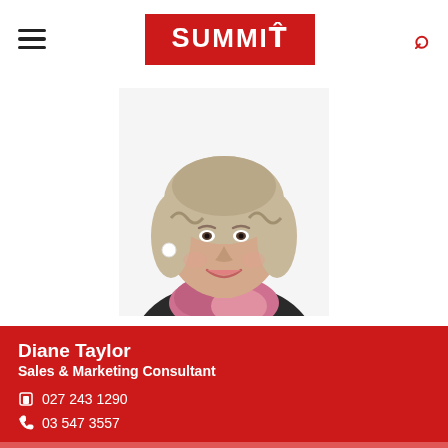Summit
[Figure (photo): Professional headshot of Diane Taylor, a woman with wavy blonde-grey hair, smiling, wearing a dark top with a colorful scarf.]
Diane Taylor
Sales & Marketing Consultant
027 243 1290
03 547 3557